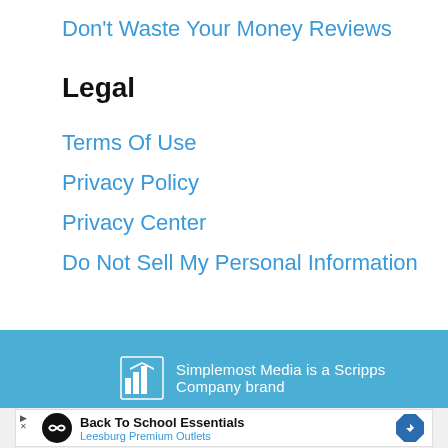Don't Waste Your Money Reviews
Legal
Terms Of Use
Privacy Policy
Privacy Center
Do Not Sell My Personal Information
Simplemost Media is a Scripps Company brand
[Figure (infographic): Advertisement banner: Back To School Essentials, Leesburg Premium Outlets, with black circular logo and blue diamond arrow icon]